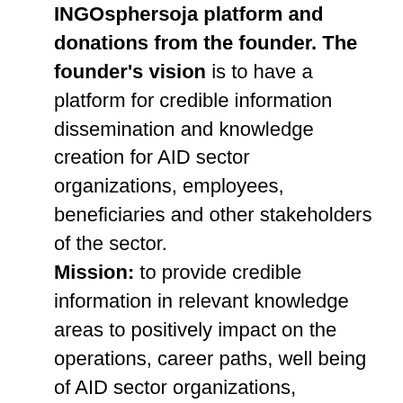INGOsphereoja platform and donations from the founder. The founder's vision is to have a platform for credible information dissemination and knowledge creation for AID sector organizations, employees, beneficiaries and other stakeholders of the sector. Mission: to provide credible information in relevant knowledge areas to positively impact on the operations, career paths, well being of AID sector organizations, employees, beneficiaries and